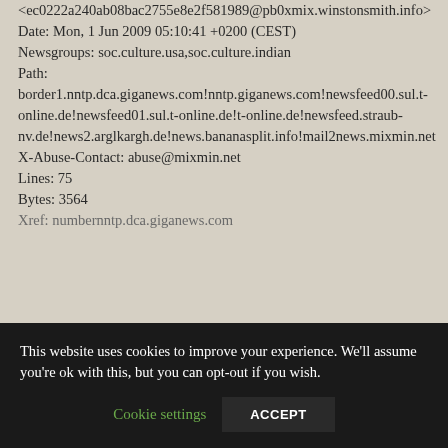<ec0222a240ab08bac2755e8e2f581989@pb0xmix.winstonsmith.info>
Date: Mon, 1 Jun 2009 05:10:41 +0200 (CEST)
Newsgroups: soc.culture.usa,soc.culture.indian
Path:
border1.nntp.dca.giganews.com!nntp.giganews.com!newsfeed00.sul.t-online.de!newsfeed01.sul.t-online.de!t-online.de!newsfeed.straub-nv.de!news2.arglkargh.de!news.bananasplit.info!mail2news.mixmin.net
X-Abuse-Contact: abuse@mixmin.net
Lines: 75
Bytes: 3564
Xref: numbernntp.dca.giganews.com...
This website uses cookies to improve your experience. We'll assume you're ok with this, but you can opt-out if you wish.
Cookie settings   ACCEPT